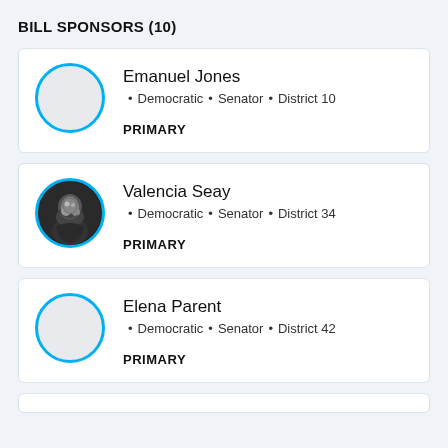BILL SPONSORS (10)
Emanuel Jones · Democratic · Senator · District 10 · PRIMARY
Valencia Seay · Democratic · Senator · District 34 · PRIMARY
Elena Parent · Democratic · Senator · District 42 · PRIMARY